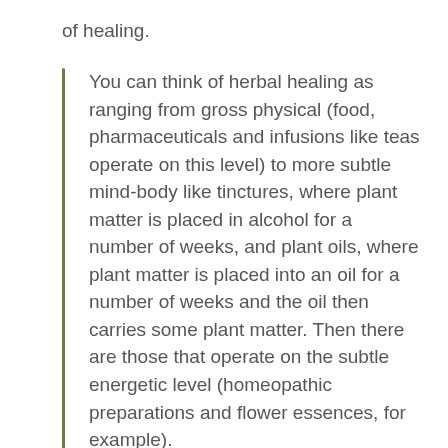of healing.
You can think of herbal healing as ranging from gross physical (food, pharmaceuticals and infusions like teas operate on this level) to more subtle mind-body like tinctures, where plant matter is placed in alcohol for a number of weeks, and plant oils, where plant matter is placed into an oil for a number of weeks and the oil then carries some plant matter. Then there are those that operate on the subtle energetic level (homeopathic preparations and flower essences, for example).